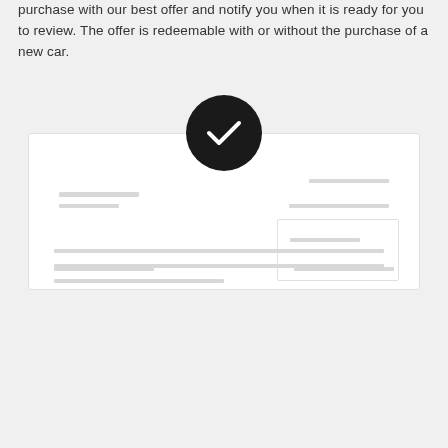purchase with our best offer and notify you when it is ready for you to review. The offer is redeemable with or without the purchase of a new car.
[Figure (illustration): A UI mockup illustration showing a white card with a dark circle containing a white checkmark at the top center. The card contains gray placeholder lines representing text fields and a smaller inner box on the right side, simulating a form or offer confirmation interface.]